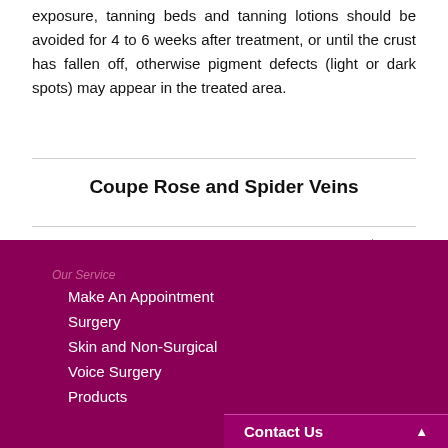exposure, tanning beds and tanning lotions should be avoided for 4 to 6 weeks after treatment, or until the crust has fallen off, otherwise pigment defects (light or dark spots) may appear in the treated area.
Coupe Rose and Spider Veins
« back  |  print
Our Service
Make An Appointment
Surgery
Skin and Non-Surgical
Voice Surgery
Products
Contact Us